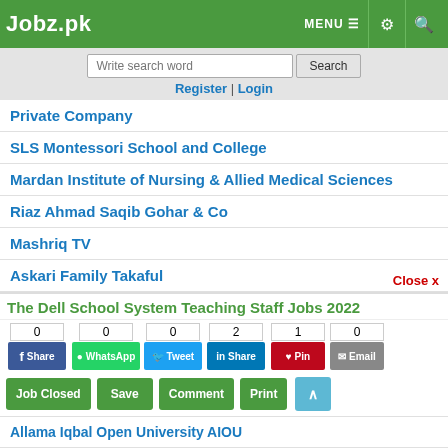Jobz.pk — MENU, settings, search
Write search word | Search | Register | Login
Private Company
SLS Montessori School and College
Mardan Institute of Nursing & Allied Medical Sciences
Riaz Ahmad Saqib Gohar & Co
Mashriq TV
Askari Family Takaful
Al Mustafa Eye Hospital
Overseas Education Consultant
International Educational Institute
Institute of Business Administration IBA
The Dell School System Teaching Staff Jobs 2022
Share counts: 0 (Facebook), 0 (WhatsApp), 0 (Tweet), 2 (LinkedIn Share), 1 (Pin), 0 (Email)
Job Closed | Save | Comment | Print
Allama Iqbal Open University AIOU